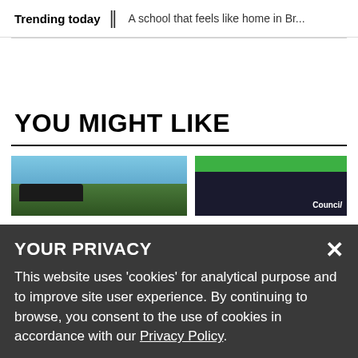Trending today || A school that feels like home in Br...
YOU MIGHT LIKE
[Figure (photo): Outdoor photo showing blue sky, trees, and a dark car roof/windshield in the foreground]
[Figure (photo): Photo with green top section and dark background, with 'Council' text visible]
YOUR PRIVACY
This website uses ‘cookies’ for analytical purpose and to improve site user experience. By continuing to browse, you consent to the use of cookies in accordance with our Privacy Policy.